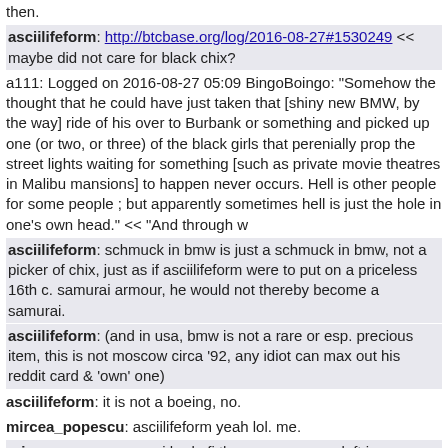then.
asciilifeform: http://btcbase.org/log/2016-08-27#1530249 << maybe did not care for black chix?
a111: Logged on 2016-08-27 05:09 BingoBoingo: "Somehow the thought that he could have just taken that [shiny new BMW, by the way] ride of his over to Burbank or something and picked up one (or two, or three) of the black girls that perenially prop the street lights waiting for something [such as private movie theatres in Malibu mansions] to happen never occurs. Hell is other people for some people ; but apparently sometimes hell is just the hole in one's own head." << "And through w
asciilifeform: schmuck in bmw is just a schmuck in bmw, not a picker of chix, just as if asciilifeform were to put on a priceless 16th c. samurai armour, he would not thereby become a samurai.
asciilifeform: (and in usa, bmw is not a rare or esp. precious item, this is not moscow circa '92, any idiot can max out his reddit card & 'own' one)
asciilifeform: it is not a boeing, no.
mircea_popescu: asciilifeform yeah lol. me.
mircea_popescu: cuz i had nfi there was anyone left in california who didn't ganja
mircea_popescu: kid is a wonder to behold, he effortlessly succeeds at things virtually none of his compatriots ever do, such as killing people (note how many of the "i shot a buncha losers" types are actually first generation or further as opposed to malibu-